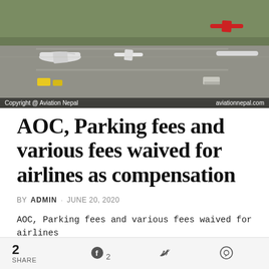[Figure (photo): Aerial view of airport tarmac with multiple aircraft parked, including turboprop and jet planes, with ground support vehicles. Copyright Aviation Nepal / aviationnepal.com]
AOC, Parking fees and various fees waived for airlines as compensation
BY ADMIN · JUNE 20, 2020
AOC, Parking fees and various fees waived for airlines as compensation -KATHMANDU; ANN The Government of Nepal has
2 SHARE  [Facebook] 2  [Twitter]  [WhatsApp]